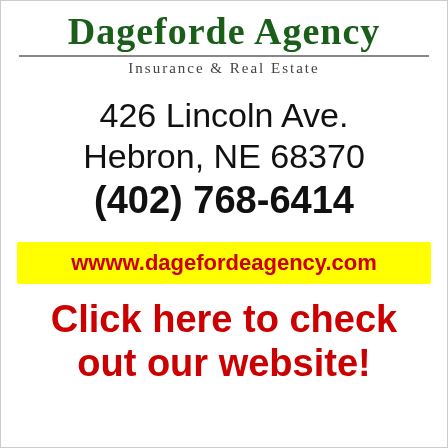Dageforde Agency
Insurance & Real Estate
426 Lincoln Ave.
Hebron, NE 68370
(402) 768-6414
wwww.dagefordeagency.com
Click here to check out our website!